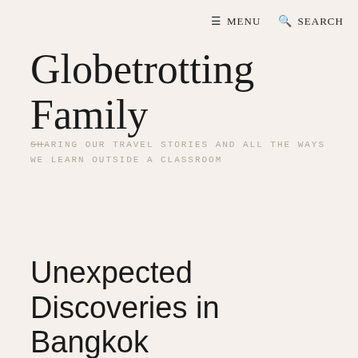≡ MENU  🔍 SEARCH
Globetrotting Family
SHARING OUR TRAVEL STORIES AND ALL THE WAYS WE LEARN OUTSIDE A CLASSROOM
Unexpected Discoveries in Bangkok
BY JUBILEELAU